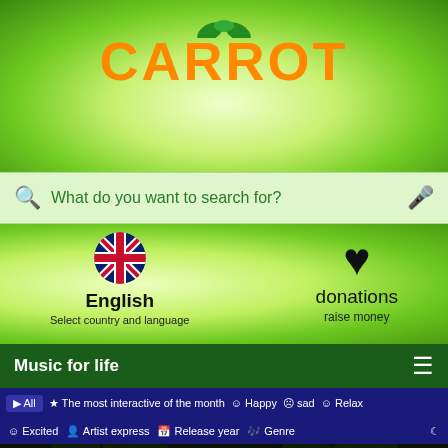[Figure (logo): Carrot app logo with orange text CARROT and green leaves on top, on green gradient background]
What do you want to search for?
English
Select country and language
donations
raise money
Music for life
▶ All  ☆ The most interactive of the month  ☺ Happy  ☹ sad  ☺ Relax
☺ Excited  👤 Artist express  📅 Release year  🎵 Genre
[Figure (screenshot): Music app screenshot showing Hold My Girl (Acoustic Version) - George Ezra with dark background and artist performing]